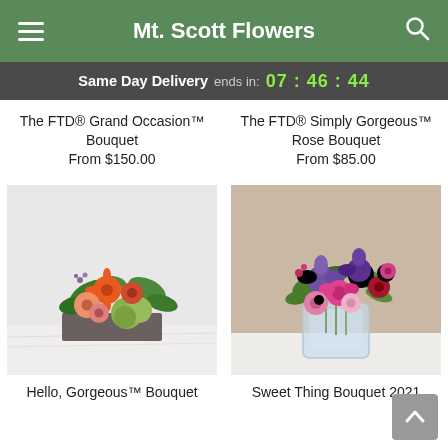Mt. Scott Flowers
Same Day Delivery ends in: 07 : 46 : 44
The FTD® Grand Occasion™ Bouquet
From $150.00
The FTD® Simply Gorgeous™ Rose Bouquet
From $85.00
[Figure (photo): Hello, Gorgeous™ Bouquet — orange gerberas, coral flowers, and green hydrangea in a rectangular dark grey box on a marble surface]
[Figure (photo): Sweet Thing Bouquet 2021 — pink, purple, and red mixed flowers in a clear glass jar on a white table with taupe background]
Hello, Gorgeous™ Bouquet
Sweet Thing Bouquet 2021